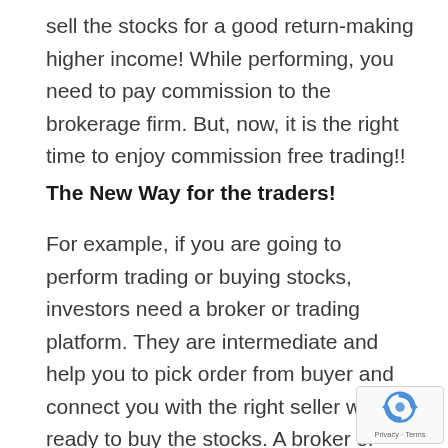sell the stocks for a good return-making higher income! While performing, you need to pay commission to the brokerage firm. But, now, it is the right time to enjoy commission free trading!!
The New Way for the traders!
For example, if you are going to perform trading or buying stocks, investors need a broker or trading platform. They are intermediate and help you to pick order from buyer and connect you with the right seller who is ready to buy the stocks. A broker or trading platform is the one that holds stocks until it finds a seller! To perform the above-mentioned tasks, the platform or broker would charge something fee. This fee is usually called as a commission.
[Figure (logo): reCAPTCHA badge with circular arrow logo and 'Privacy - Terms' text]